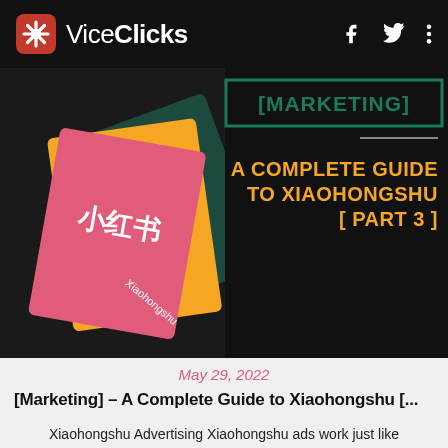ViceClicks
[Figure (illustration): Banner image showing Xiaohongshu app branding with red, yellow, and dark green overlapping card shapes. Right side shows [MARKETING] tag in teal/green, a divider line, and the article title in orange text: A COMPLETE GUIDE TO XIAOHONGSHU [ PART 3 ]]
May 29, 2022
[Marketing] – A Complete Guide to Xiaohongshu [...
Xiaohongshu Advertising Xiaohongshu ads work just like Instagram. It is a promoting tools to drive the best performing content, ads can further en...